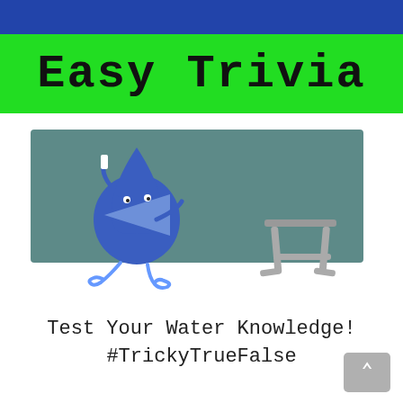Easy Trivia
[Figure (illustration): Animated water droplet character with a pointer/arrow shape on its body, standing in front of a teal chalkboard. A gray stool is on the right side of the board. The droplet has curly blue feet and is pointing upward.]
Test Your Water Knowledge!
#TrickyTrueFalse